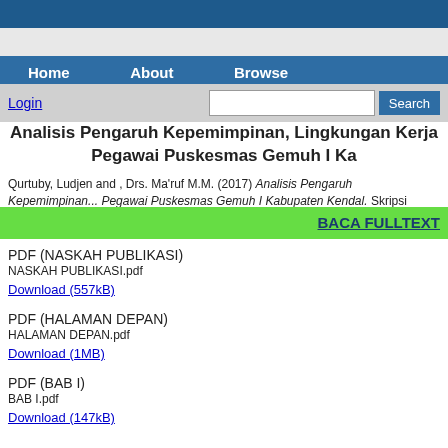Home   About   Browse
Login   Search
Analisis Pengaruh Kepemimpinan, Lingkungan Kerja Pegawai Puskesmas Gemuh I Ka
Qurtuby, Ludjen and , Drs. Ma'ruf M.M. (2017) Analisis Pengaruh Kepemimpinan... Pegawai Puskesmas Gemuh I Kabupaten Kendal. Skripsi thesis, Universitas M
BACA FULLTEXT
PDF (NASKAH PUBLIKASI)
NASKAH PUBLIKASI.pdf
Download (557kB)
PDF (HALAMAN DEPAN)
HALAMAN DEPAN.pdf
Download (1MB)
PDF (BAB I)
BAB I.pdf
Download (147kB)